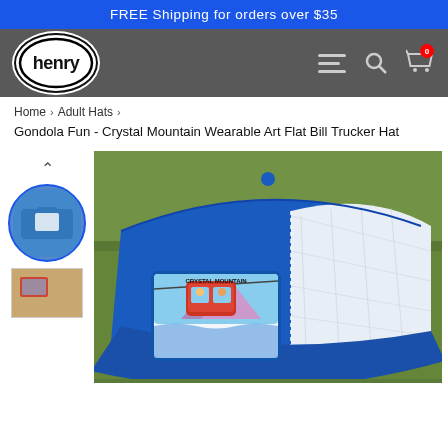FREE Shipping for orders over $35
[Figure (logo): Henry brand logo - oval shape with the word 'henry' in bold black text]
Home > Adult Hats >
Gondola Fun - Crystal Mountain Wearable Art Flat Bill Trucker Hat
[Figure (photo): Blue and white trucker hat with a Crystal Mountain gondola patch on the front, displayed against a grassy background. Small thumbnail image of the same hat in a blue circle on the left side.]